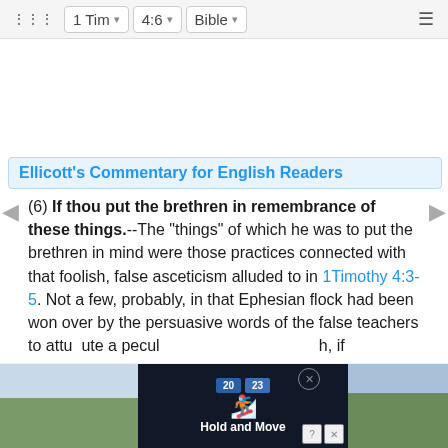1 Tim  4:6  Bible
Ellicott's Commentary for English Readers
(6) If thou put the brethren in remembrance of these things.--The "things" of which he was to put the brethren in mind were those practices connected with that foolish, false asceticism alluded to in 1Timothy 4:3-5. Not a few, probably, in that Ephesian flock had been won over by the persuasive words of the false teachers to attribute a peculiar sanctity to abstinences of this kind, if perseveringly set
[Figure (screenshot): Advertisement overlay showing a mobile sports app ad with score boxes, basketball icon, 'Hold and Move' label, and nature background images on left and right sides.]